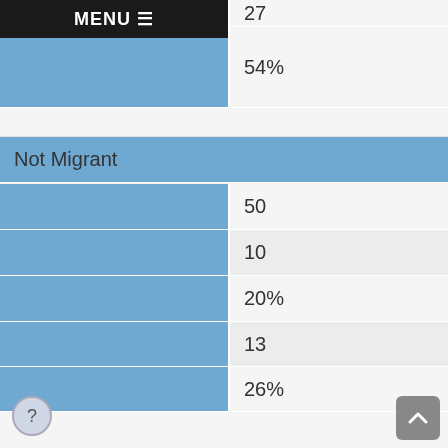|  | Value |
| --- | --- |
|  | 27 |
|  | 54% |
| Not Migrant |  |
|  | 50 |
|  | 10 |
|  | 20% |
|  | 13 |
|  | 26% |
|  | 17 |
|  | 34% |
|  | 10 |
|  | 20% |